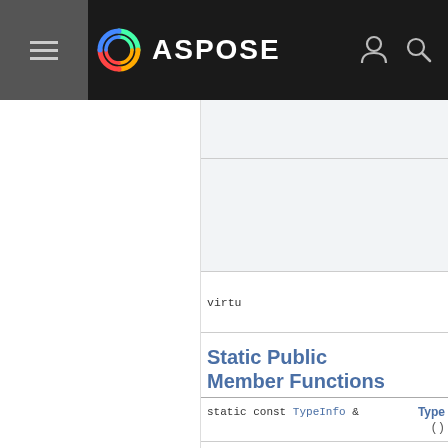ASPOSE
|  |  |
|  |  |
| virtu |  |
Static Public Member Functions
| static const TypeInfo & | Type() 0 |
▶ Static Public Member